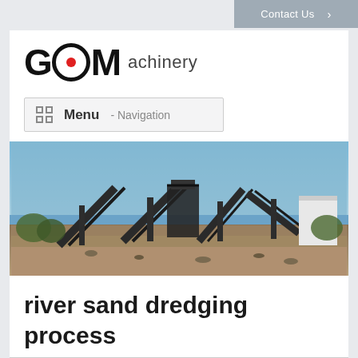Contact Us >
[Figure (logo): GCM achinery logo — large bold letters G, C (styled as circle with red dot), M followed by the word 'achinery' in lighter weight]
Menu - Navigation
[Figure (photo): Outdoor industrial mining/crushing machinery facility with multiple conveyor belts, screening structures, and steel frames against a blue sky with rocky/muddy ground in foreground]
river sand dredging process